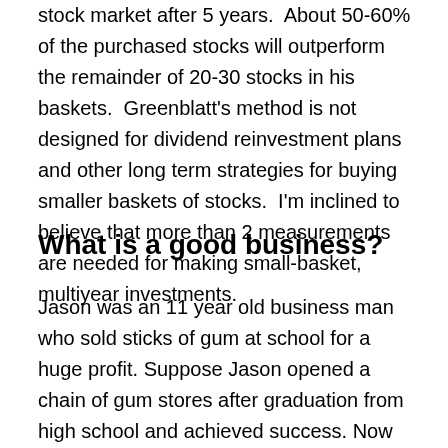stock market after 5 years.  About 50-60% of the purchased stocks will outperform the remainder of 20-30 stocks in his baskets.  Greenblatt's method is not designed for dividend reinvestment plans and other long term strategies for buying smaller baskets of stocks.  I'm inclined to believe that more than 2 measurements are needed for making small-basket, multiyear investments.
What is a good business?
Jason was an 11 year old business man who sold sticks of gum at school for a huge profit. Suppose Jason opened a chain of gum stores after graduation from high school and achieved success. Now he wants to sell half the business for $6 million. He plans to split the ownership into 1 million equal pieces, called shares, and sell ½ million shares at